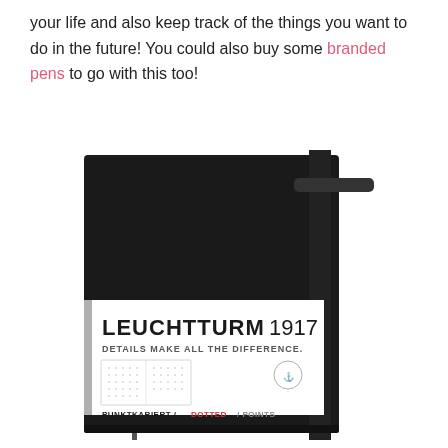your life and also keep track of the things you want to do in the future! You could also buy some branded pens to go with this too!
[Figure (photo): A black Leuchtturm1917 hardcover notebook with elastic band closure. The notebook has a white label band around it showing the brand name LEUCHTTURM1917 with tagline 'DETAILS MAKE ALL THE DIFFERENCE.' and a dotted page preview. Below shows 'PUNKTKARIERT / DOTTED / POINTS'.]